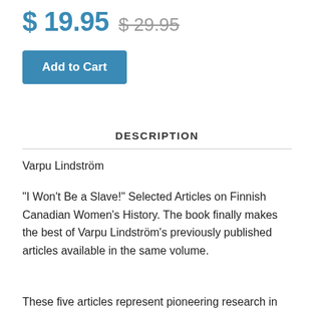$ 19.95  $ 29.95
Add to Cart
DESCRIPTION
Varpu Lindström
"I Won't Be a Slave!" Selected Articles on Finnish Canadian Women's History. The book finally makes the best of Varpu Lindström's previously published articles available in the same volume.
These five articles represent pioneering research in North